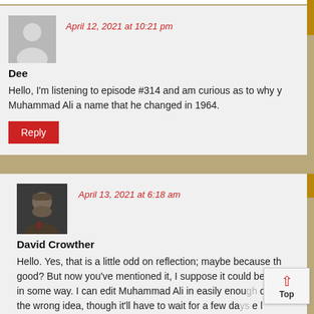April 12, 2021 at 10:21 pm
Dee
Hello, I'm listening to episode #314 and am curious as to why y... Muhammad Ali a name that he changed in 1964.
Reply
April 13, 2021 at 6:18 am
David Crowther
Hello. Yes, that is a little odd on reflection; maybe because th... good? But now you've mentioned it, I suppose it could be con... in some way. I can edit Muhammad Ali in easily enou... on... the wrong idea, though it'll have to wait for a few da... e l... away!